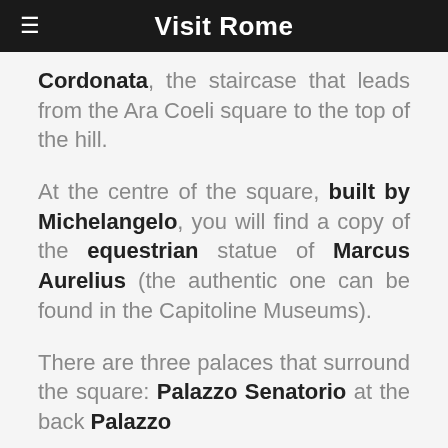Visit Rome
Cordonata, the staircase that leads from the Ara Coeli square to the top of the hill.
At the centre of the square, built by Michelangelo, you will find a copy of the equestrian statue of Marcus Aurelius (the authentic one can be found in the Capitoline Museums).
There are three palaces that surround the square: Palazzo Senatorio at the back Palazzo